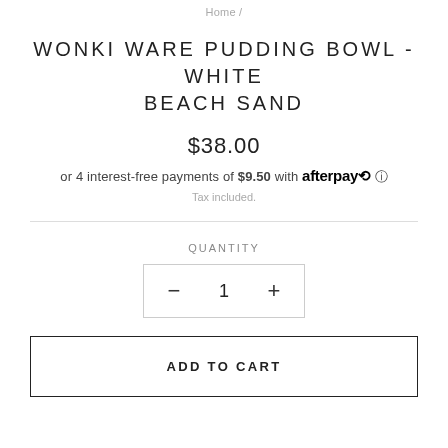Home /
WONKI WARE PUDDING BOWL - WHITE BEACH SAND
$38.00
or 4 interest-free payments of $9.50 with afterpay
Tax included.
QUANTITY
− 1 +
ADD TO CART